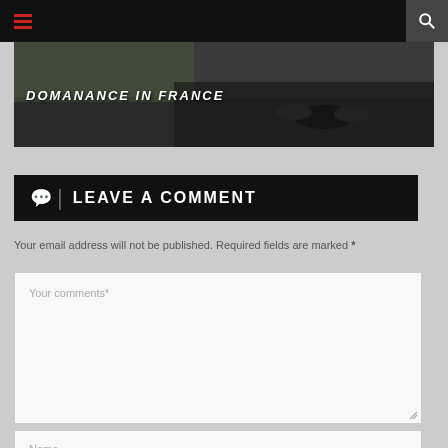DOMANANCE IN FRANCE
💬 | LEAVE A COMMENT
Your email address will not be published. Required fields are marked *
[Figure (screenshot): Comment form textarea with placeholder text 'Your comments*']
[Figure (screenshot): Name input field with placeholder text 'Name']